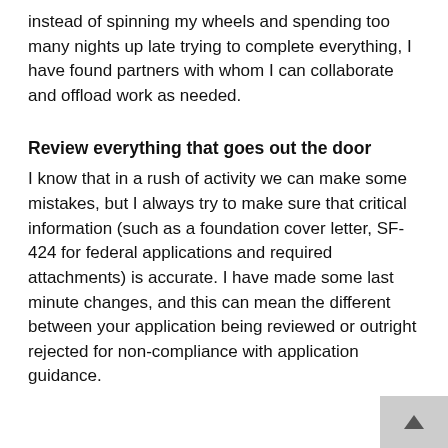instead of spinning my wheels and spending too many nights up late trying to complete everything, I have found partners with whom I can collaborate and offload work as needed.
Review everything that goes out the door
I know that in a rush of activity we can make some mistakes, but I always try to make sure that critical information (such as a foundation cover letter, SF-424 for federal applications and required attachments) is accurate. I have made some last minute changes, and this can mean the different between your application being reviewed or outright rejected for non-compliance with application guidance.